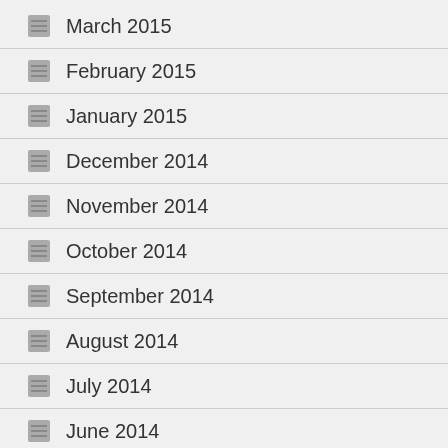March 2015
February 2015
January 2015
December 2014
November 2014
October 2014
September 2014
August 2014
July 2014
June 2014